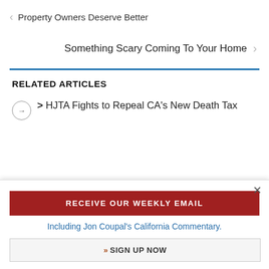< Property Owners Deserve Better
Something Scary Coming To Your Home >
RELATED ARTICLES
> HJTA Fights to Repeal CA's New Death Tax
RECEIVE OUR WEEKLY EMAIL
Including Jon Coupal's California Commentary.
» SIGN UP NOW